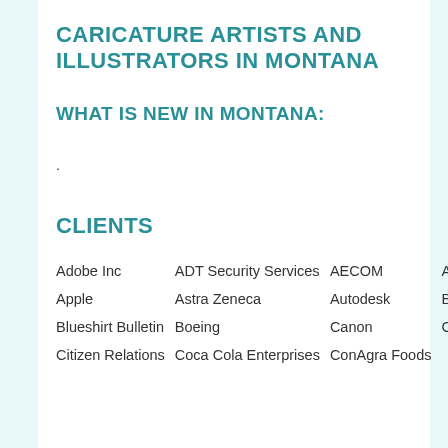CARICATURE ARTISTS AND ILLUSTRATORS IN MONTANA
WHAT IS NEW IN MONTANA:
.
CLIENTS
Adobe Inc   ADT Security Services   AECOM   Amazon ?>  Apple   Astra Zeneca   Autodesk   Bayer Group   Blueshirt Bulletin   Boeing   Canon   Cisco Systems   Citizen Relations   Coca Cola Enterprises   ConAgra Foods